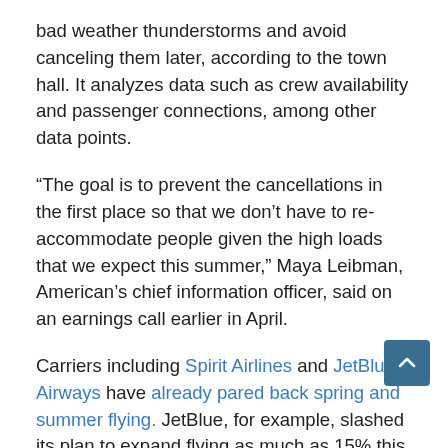bad weather thunderstorms and avoid canceling them later, according to the town hall. It analyzes data such as crew availability and passenger connections, among other data points.
“The goal is to prevent the cancellations in the first place so that we don’t have to re-accommodate people given the high loads that we expect this summer,” Maya Leibman, American’s chief information officer, said on an earnings call earlier in April.
Carriers including Spirit Airlines and JetBlue Airways have already pared back spring and summer flying. JetBlue, for example, slashed its plan to expand flying as much as 15% this year from 2019 levels and is now planning a schedule no more than 5% up from three years ago as it tries to stabilize its operation while facing staffing shortages, including from pilot attrition.
Schedule cuts for June are deeper at low-cost and ultra low-